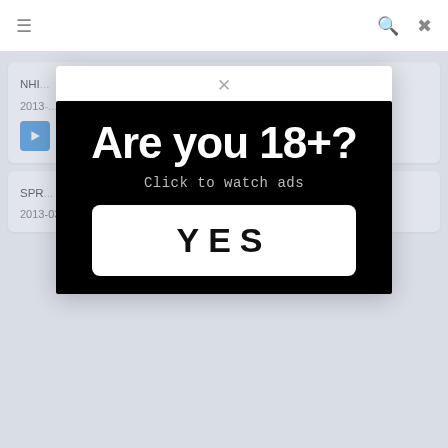≡   🔍  ✕
NHI... Riverside Is...A Little Sister Turned On By An Irrepressible...
2013-...
[Figure (screenshot): Blue play button]
[Figure (infographic): Age verification modal on black background. Large white bold text reads 'Are you 18+?' followed by 'Click to watch ads' in monospace. A white YES button at the bottom.]
SPR... Show...
2013-03-07